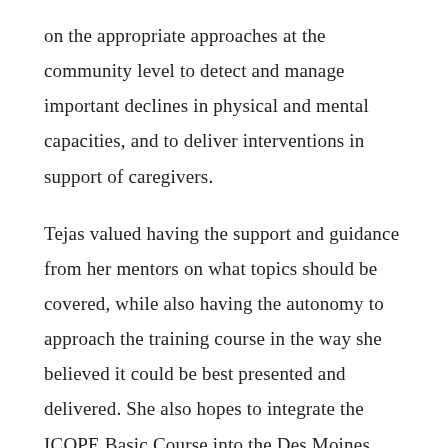on the appropriate approaches at the community level to detect and manage important declines in physical and mental capacities, and to deliver interventions in support of caregivers.
Tejas valued having the support and guidance from her mentors on what topics should be covered, while also having the autonomy to approach the training course in the way she believed it could be best presented and delivered. She also hopes to integrate the ICOPE Basic Course into the Des Moines University pre-geriatric course curriculum in order to contribute to current research being done by Dr. Enrique Vega, unit chief for the Healthy Life Course.